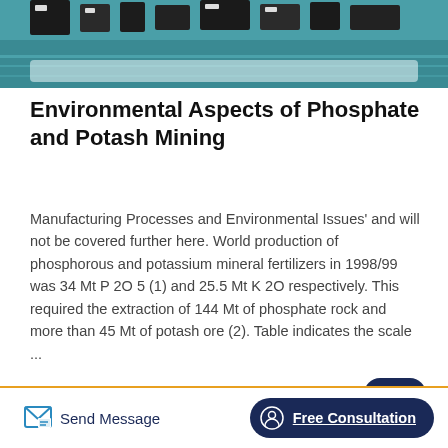[Figure (photo): Top portion of a photo showing industrial equipment (possibly mining/processing machinery) in teal/dark tones, partially cropped at top]
Environmental Aspects of Phosphate and Potash Mining
Manufacturing Processes and Environmental Issues' and will not be covered further here. World production of phosphorous and potassium mineral fertilizers in 1998/99 was 34 Mt P 2O 5 (1) and 25.5 Mt K 2O respectively. This required the extraction of 144 Mt of phosphate rock and more than 45 Mt of potash ore (2). Table indicates the scale ...
[Figure (photo): Interior of an industrial facility or warehouse with high ceiling, fluorescent lighting strips, and red paint or markings on walls]
Send Message   Free Consultation